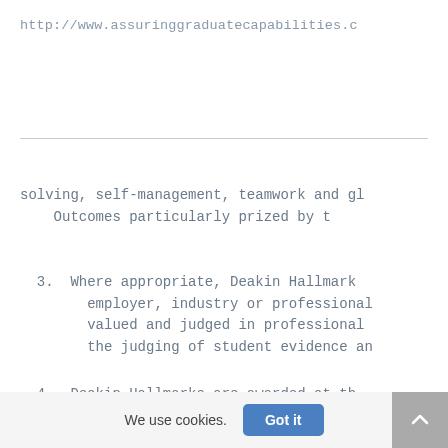http://www.assuringgraduatecapabilities.c
solving, self-management, teamwork and gl Outcomes particularly prized by t
3. Where appropriate, Deakin Hallmark employer, industry or professional valued and judged in professional the judging of student evidence an
4. Deakin Hallmarks are awarded at th
We use cookies.